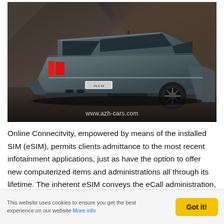[Figure (photo): Rear-three-quarter view of a dark grey SEAT/CUPRA SUV parked in a moody dark studio/architectural setting with dramatic lighting. URL watermark 'www.azh-cars.com' visible at bottom of image.]
Online Connecitvity, empowered by means of the installed SIM (eSIM), permits clients admittance to the most recent infotainment applications, just as have the option to offer new computerized items and administrations all through its lifetime. The inherent eSIM conveys the eCall administration, which straightforwardly contacts crisis administrations should an
This website uses cookies to ensure you get the best experience on our website More info